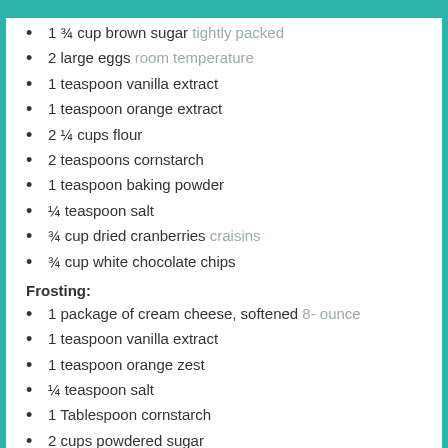1 ¾ cup brown sugar tightly packed
2 large eggs room temperature
1 teaspoon vanilla extract
1 teaspoon orange extract
2 ¼ cups flour
2 teaspoons cornstarch
1 teaspoon baking powder
¼ teaspoon salt
¾ cup dried cranberries craisins
¾ cup white chocolate chips
Frosting:
1 package of cream cheese, softened 8- ounce
1 teaspoon vanilla extract
1 teaspoon orange zest
¼ teaspoon salt
1 Tablespoon cornstarch
2 cups powdered sugar
Topping: